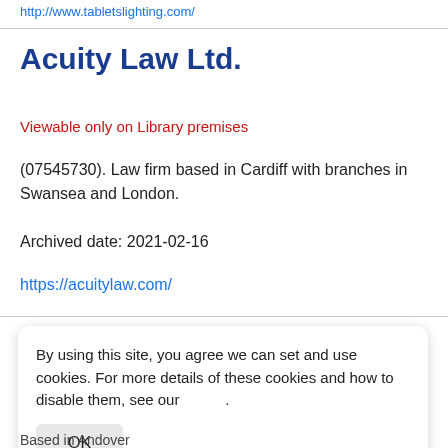http://www.tabletslighting.com/
Acuity Law Ltd.
Viewable only on Library premises
(07545730). Law firm based in Cardiff with branches in Swansea and London.
Archived date: 2021-02-16
https://acuitylaw.com/
By using this site, you agree we can set and use cookies. For more details of these cookies and how to disable them, see our .
OK
Based in Andover